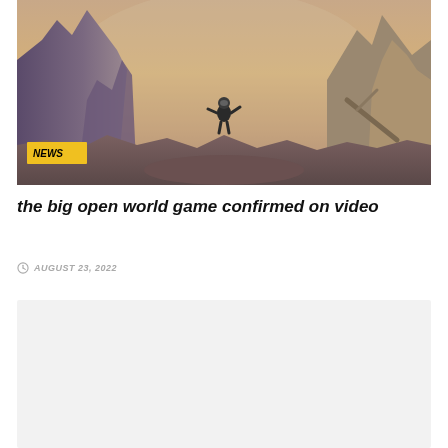[Figure (photo): A science fiction scene showing a lone astronaut/space explorer figure standing in a dramatic rocky alien landscape with towering rock formations, warm orange and pink atmospheric haze, and dramatic lighting. A 'NEWS' badge label is overlaid in the bottom-left corner of the image.]
the big open world game confirmed on video
AUGUST 23, 2022
[Figure (other): Empty light gray placeholder/content box below the article header]